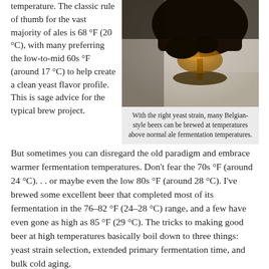temperature. The classic rule of thumb for the vast majority of ales is 68 °F (20 °C), with many preferring the low-to-mid 60s °F (around 17 °C) to help create a clean yeast flavor profile. This is sage advice for the typical brew project.
[Figure (photo): A silhouetted hand holding a stemmed Belgian beer glass with amber beer against a light background.]
With the right yeast strain, many Belgian-style beers can be brewed at temperatures above normal ale fermentation temperatures.
But sometimes you can disregard the old paradigm and embrace warmer fermentation temperatures. Don't fear the 70s °F (around 24 °C). . . or maybe even the low 80s °F (around 28 °C). I've brewed some excellent beer that completed most of its fermentation in the 76–82 °F (24–28 °C) range, and a few have even gone as high as 85 °F (29 °C). The tricks to making good beer at high temperatures basically boil down to three things: yeast strain selection, extended primary fermentation time, and bulk cold aging.
The most obvious choice for a high-temperature yeast is one of the